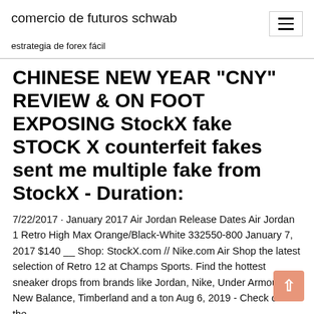comercio de futuros schwab
estrategia de forex fácil
CHINESE NEW YEAR "CNY" REVIEW & ON FOOT EXPOSING StockX fake STOCK X counterfeit fakes sent me multiple fake from StockX - Duration:
7/22/2017 · January 2017 Air Jordan Release Dates Air Jordan 1 Retro High Max Orange/Black-White 332550-800 January 7, 2017 $140 __ Shop: StockX.com // Nike.com Air Shop the latest selection of Retro 12 at Champs Sports. Find the hottest sneaker drops from brands like Jordan, Nike, Under Armour, New Balance, Timberland and a ton Aug 6, 2019 - Check out the